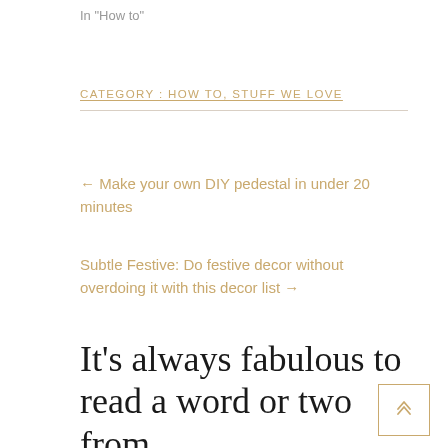In "How to"
CATEGORY : HOW TO, STUFF WE LOVE
← Make your own DIY pedestal in under 20 minutes
Subtle Festive: Do festive decor without overdoing it with this decor list →
It's always fabulous to read a word or two from you! Leave a comment if